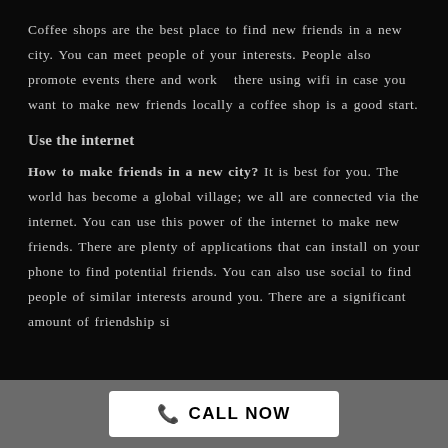Coffee shops are the best place to find new friends in a new city. You can meet people of your interests. People also promote events there and work  there using wifi in case you want to make new friends locally a coffee shop is a good start.
Use the internet
How to make friends in a new city? It is best for you. The world has become a global village; we all are connected via the internet. You can use this power of the internet to make new friends. There are plenty of applications that can install on your phone to find potential friends. You can also use social to find people of similar interests around you. There are a significant amount of friendship si...
CALL NOW